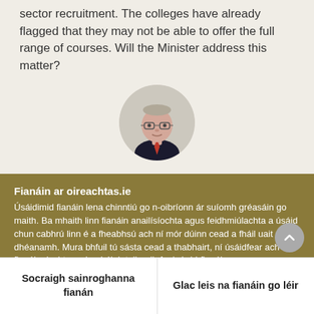sector recruitment. The colleges have already flagged that they may not be able to offer the full range of courses. Will the Minister address this matter?
[Figure (photo): Circular portrait photo of an older man wearing glasses, dark suit jacket and red tie, against a light background.]
Fianáin ar oireachtas.ie
Úsáidimid fianáin lena chinntiú go n-oibríonn ár suíomh gréasáin go maith. Ba mhaith linn fianáin anailísíochta agus feidhmiúlachta a úsáid chun cabhrú linn é a fheabhsú ach ní mór dúinn cead a fháil uait sin a dhéanamh. Mura bhfuil tú sásta cead a thabhairt, ní úsáidfear ach fianáin riachtanacha. Léigh tuileadh faoinár bhfianáin
Socraigh sainroghanna fianán
Glac leis na fianáin go léir